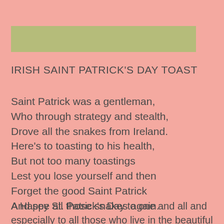[Figure (other): Olive/sage green horizontal decorative bar]
IRISH SAINT PATRICK'S DAY TOAST
Saint Patrick was a gentleman,
Who through strategy and stealth,
Drove all the snakes from Ireland.
Here's to toasting to his health,
But not too many toastings
Lest you lose yourself and then
Forget the good Saint Patrick
And see all those snakes again.
A Happy St. Patrick's Day to one and all and especially to all those who live in the beautiful Emerald Isle.  I don't have any